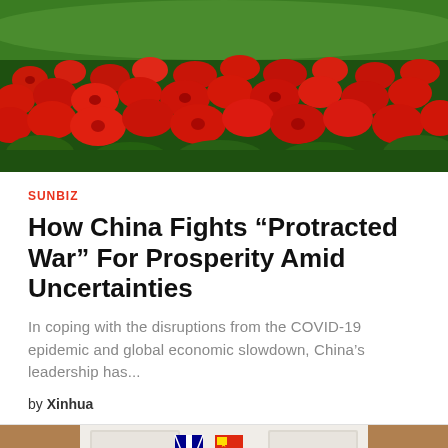[Figure (photo): Field of red flowers with green foliage in the background]
SUNBIZ
How China Fights “Protracted War” For Prosperity Amid Uncertainties
In coping with the disruptions from the COVID-19 epidemic and global economic slowdown, China’s leadership has...
by Xinhua
[Figure (photo): Two people seated at a table with Australian and Chinese flags in the background, flanked by plants]